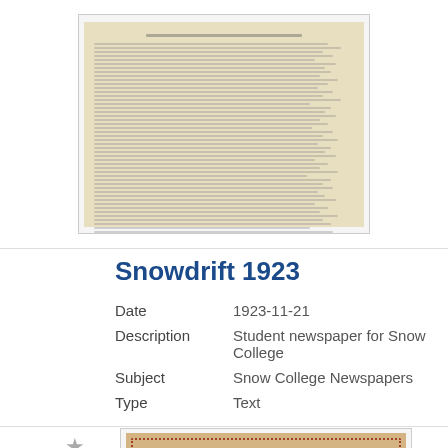[Figure (photo): Thumbnail image of a historical newspaper page with dense text columns on aged yellowish paper]
Snowdrift 1923
| Date | 1923-11-21 |
| Description | Student newspaper for Snow College |
| Subject | Snow College Newspapers |
| Type | Text |
[Figure (photo): Thumbnail image of The Excelsior Star newspaper with decorative red border on tan/golden colored cover]